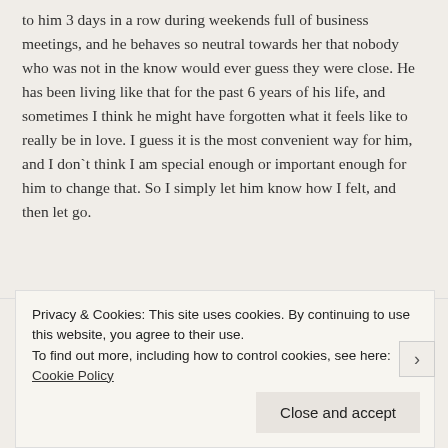to him 3 days in a row during weekends full of business meetings, and he behaves so neutral towards her that nobody who was not in the know would ever guess they were close. He has been living like that for the past 6 years of his life, and sometimes I think he might have forgotten what it feels like to really be in love. I guess it is the most convenient way for him, and I don`t think I am special enough or important enough for him to change that. So I simply let him know how I felt, and then let go.
Steve says: September 18, 2009 at 12:18 pm
Privacy & Cookies: This site uses cookies. By continuing to use this website, you agree to their use. To find out more, including how to control cookies, see here: Cookie Policy
Close and accept